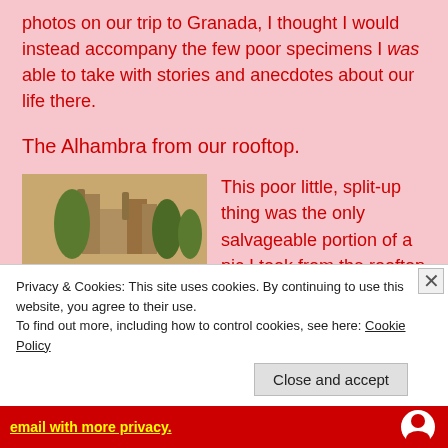photos on our trip to Granada, I thought I would instead accompany the few poor specimens I was able to take with stories and anecdotes about our life there.
The Alhambra from our rooftop.
[Figure (photo): Photo of rooftop with clay tile roof in foreground and the Alhambra palace complex visible on a hill in the background.]
This poor little, split-up thing was the only salvageable portion of a pic I took from the rooftop of our old building where we
Privacy & Cookies: This site uses cookies. By continuing to use this website, you agree to their use.
To find out more, including how to control cookies, see here: Cookie Policy
Close and accept
email with more privacy.